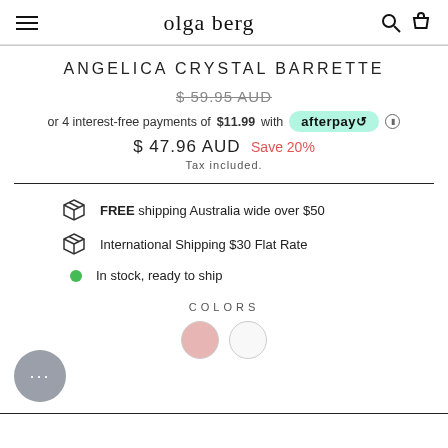olga berg
ANGELICA CRYSTAL BARRETTE
$ 59.95 AUD (strikethrough original price)
or 4 interest-free payments of $11.99 with afterpay
$ 47.96 AUD  Save 20%  Tax included.
FREE shipping Australia wide over $50
International Shipping $30 Flat Rate
In stock, ready to ship
COLORS